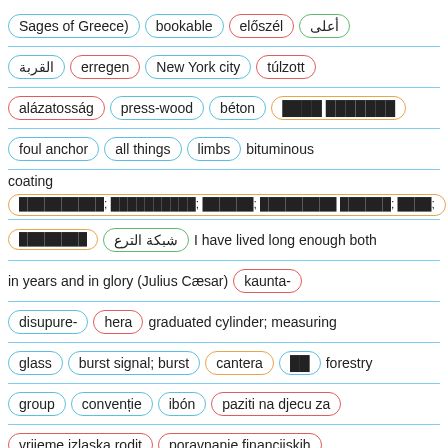Tagged tokens: Sages of Greece) [blue], bookable [blue], előszél [red], أعلى [green], القربة [blue], erregen [red], New York city [blue], túlzott [red], alázatosság [red], press-wood [blue], béton [blue], ████ ███████ [orange], foul anchor [blue], all things [blue], limbs [blue], bituminous [plain], coating [plain], ██████████; ██████████; ██████; █████████ ██████; ████; ████████ [orange], شبكة الترع [green], I have lived long enough both [plain], in years and in glory (Julius Cæsar) [plain], kaunta- [red], disupure- [blue], hera [red], graduated cylinder; measuring [plain], glass [blue], burst signal; burst [blue], cantera [orange], ██ [blue], forestry [plain], group [blue], convenție [blue], ibón [blue], paziti na djecu za [red], vrijeme izlaska rodit [red], poravnanje financijskih [red], transakcija, dezintermedijacija [red], cerveau [blue], Rear [plain], Brake [blue], גלגול, גורל, שכר ועונש, קרמה (בבודהיזם) [blue]